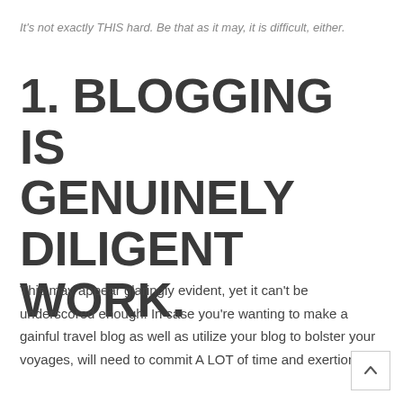It's not exactly THIS hard. Be that as it may, it is difficult, either.
1. BLOGGING IS GENUINELY DILIGENT WORK.
This may appear glaringly evident, yet it can't be underscored enough. In case you're wanting to make a gainful travel blog as well as utilize your blog to bolster your voyages, will need to commit A LOT of time and exertion.